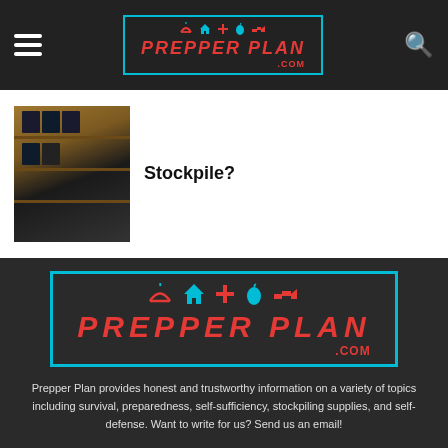PrepperPlan.com navigation header with logo
[Figure (screenshot): Thumbnail image of shelving/storage unit with dark items]
Stockpile?
[Figure (logo): PrepperPlan.com large logo with cyan border, red text, and survival icons (bowl, house, cross, water drop, gun)]
Prepper Plan provides honest and trustworthy information on a variety of topics including survival, preparedness, self-sufficiency, stockpiling supplies, and self-defense. Want to write for us? Send us an email!